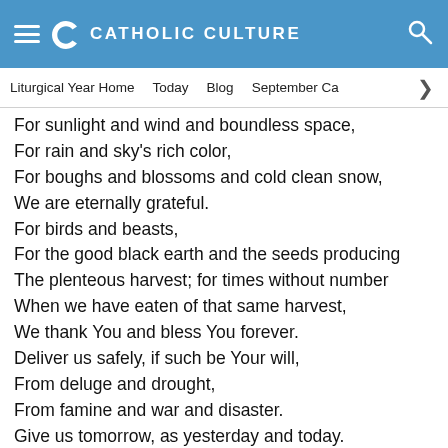CATHOLIC CULTURE
Liturgical Year Home   Today   Blog   September Ca
For sunlight and wind and boundless space,
For rain and sky's rich color,
For boughs and blossoms and cold clean snow,
We are eternally grateful.
For birds and beasts,
For the good black earth and the seeds producing
The plenteous harvest; for times without number
When we have eaten of that same harvest,
We thank You and bless You forever.
Deliver us safely, if such be Your will,
From deluge and drought,
From famine and war and disaster.
Give us tomorrow, as yesterday and today.
All things most needed for rightful living;
And move our hearts that we may have sorrow
For sinning against You.